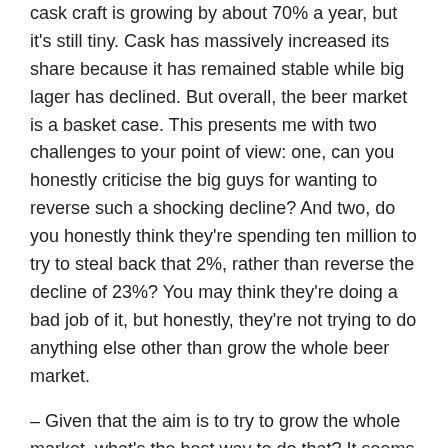cask craft is growing by about 70% a year, but it's still tiny. Cask has massively increased its share because it has remained stable while big lager has declined. But overall, the beer market is a basket case. This presents me with two challenges to your point of view: one, can you honestly criticise the big guys for wanting to reverse such a shocking decline? And two, do you honestly think they're spending ten million to try to steal back that 2%, rather than reverse the decline of 23%? You may think they're doing a bad job of it, but honestly, they're not trying to do anything else other than grow the whole beer market.
– Given that the aim is to try to grow the whole market, what's the best way to do that? It seems